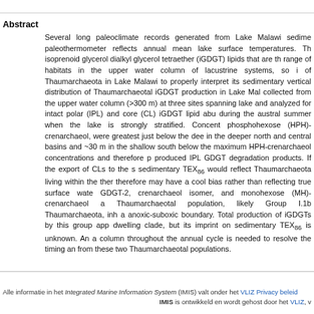Abstract
Several long paleoclimate records generated from Lake Malawi sedime... paleothermometer reflects annual lake surface temperatures. Th... isoprenoid glycerol dialkyl glycerol tetraether (iGDGT) lipids that are th... range of habitats in the upper water column of lacustrine systems, so i... of Thaumarchaeota in Lake Malawi to properly interpret its sedimentary... vertical distribution of Thaumarchaeotal iGDGT production in Lake Mal... collected from the upper water column (>300 m) at three sites spannin... lake and analyzed for intact polar (IPL) and core (CL) iGDGT lipid abu... during the austral summer when the lake is strongly stratified. Concen... phosphohexose (HPH)-crenarchaeol, were greatest just below the dee... in the deeper north and central basins and ~30 m in the shallow south... below the maximum HPH-crenarchaeol concentrations and therefore p... produced IPL GDGT degradation products. If the export of CLs to the s... sedimentary TEX86 would reflect Thaumarchaeota living within the ther... therefore may have a cool bias rather than reflecting true surface wate... GDGT-2, crenarchaeol isomer, and monohexose (MH)-crenarchaeol a... Thaumarchaeotal population, likely Group I.1b Thaumarchaeota, inha... anoxic-suboxic boundary. Total production of iGDGTs by this group ap... dwelling clade, but its imprint on sedimentary TEX86 is unknown. An a... column throughout the annual cycle is needed to resolve the timing an... from these two Thaumarchaeotal populations.
Alle informatie in het Integrated Marine Information System (IMIS) valt onder het VLIZ Privacy beleid | IMIS is ontwikkeld en wordt gehost door het VLIZ, v...